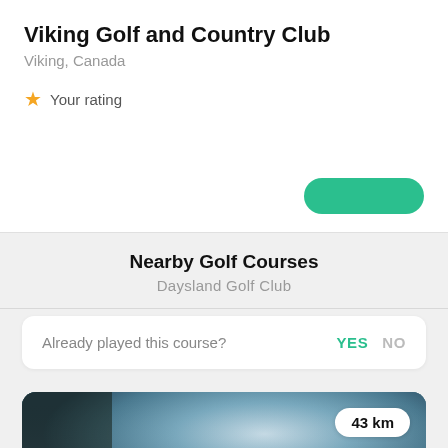Viking Golf and Country Club
Viking, Canada
★ Your rating
Nearby Golf Courses
Daysland Golf Club
Already played this course?  YES  NO
[Figure (photo): Blurred golf course image with green fairway and blue sky. Distance badge showing 43 km in top right corner.]